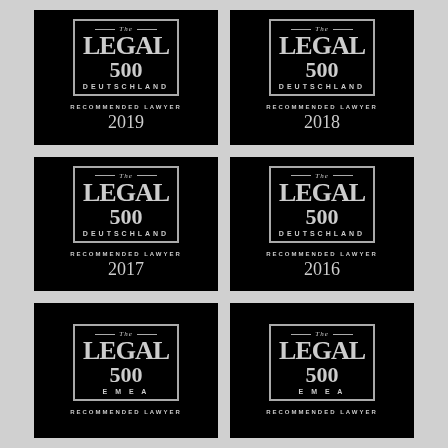[Figure (logo): The Legal 500 Deutschland Recommended Lawyer 2019 badge (black background with logo and text)]
[Figure (logo): The Legal 500 Deutschland Recommended Lawyer 2018 badge (black background with logo and text)]
[Figure (logo): The Legal 500 Deutschland Recommended Lawyer 2017 badge (black background with logo and text)]
[Figure (logo): The Legal 500 Deutschland Recommended Lawyer 2016 badge (black background with logo and text)]
[Figure (logo): The Legal 500 EMEA Recommended Lawyer badge (black background with logo and text, year partially visible)]
[Figure (logo): The Legal 500 EMEA Recommended Lawyer badge (black background with logo and text, year partially visible)]